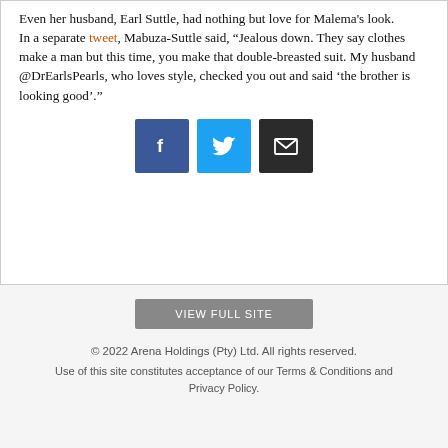Even her husband, Earl Suttle, had nothing but love for Malema's look.

In a separate tweet, Mabuza-Suttle said, “Jealous down. They say clothes make a man but this time, you make that double-breasted suit. My husband @DrEarlsPearls, who loves style, checked you out and said ‘the brother is looking good’.”
[Figure (infographic): Three social sharing buttons: Facebook (blue), Twitter (light blue), Email (dark/black)]
VIEW FULL SITE
© 2022 Arena Holdings (Pty) Ltd. All rights reserved.
Use of this site constitutes acceptance of our Terms & Conditions and Privacy Policy.